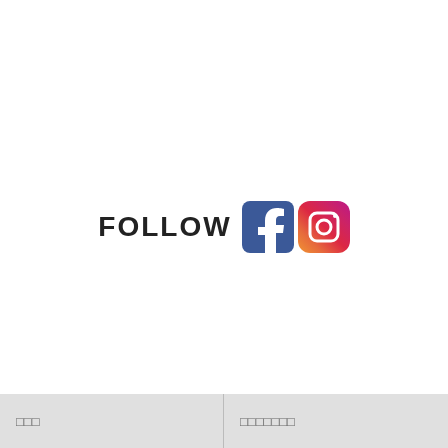[Figure (logo): FOLLOW text with Facebook and Instagram social media icons side by side]
□□□   □□□□□□□